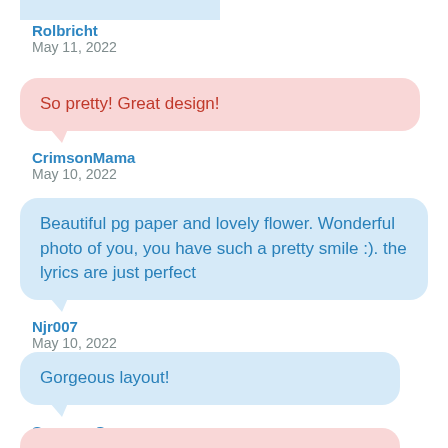Rolbricht
May 11, 2022
So pretty! Great design!
CrimsonMama
May 10, 2022
Beautiful pg paper and lovely flower. Wonderful photo of you, you have such a pretty smile :). the lyrics are just perfect
Njr007
May 10, 2022
Gorgeous layout!
SusanneG
May 10, 2022